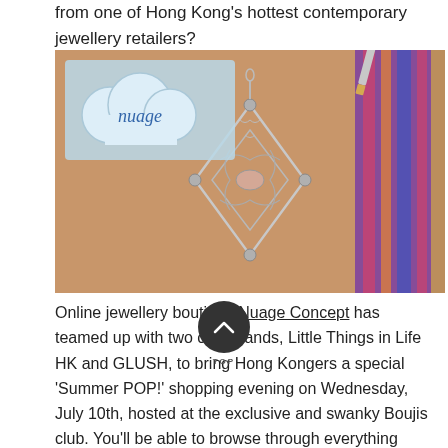from one of Hong Kong's hottest contemporary jewellery retailers?
[Figure (photo): Photo of a decorative silver filigree pendant necklace resting on a person's torso, with a colorful fabric visible on the right side. A 'nuage' logo is overlaid in the upper left corner on a light blue cloud-shaped background.]
Online jewellery boutique Nuage Concept has teamed up with two chic brands, Little Things in Life HK and GLUSH, to bring Hong Kongers a special 'Summer POP!' shopping evening on Wednesday, July 10th, hosted at the exclusive and swanky Boujis club. You'll be able to browse through everything from luxury French fashion jewellery, to tried-and-tested organic skincare products and distinctively stylish bags and clutches, all in one place.